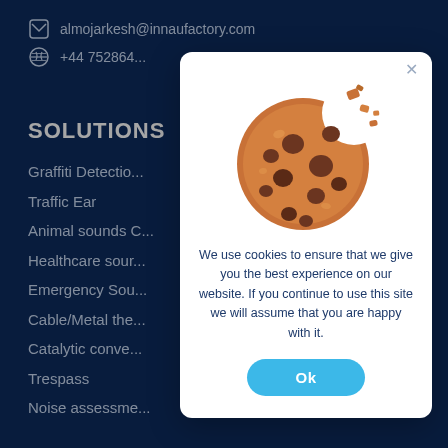NCL1 31, Birmingham, B7 4BL
almojarkesh@innaufactory.com
+44 752864...
SOLUTIONS
Graffiti Detection
Traffic Ear
Animal sounds C...
Healthcare sour...
Emergency Sou...
Cable/Metal the...
Catalytic conve...
Trespass
Noise assessme...
[Figure (illustration): Cookie with a bite taken out, chocolate chip cookie illustration]
We use cookies to ensure that we give you the best experience on our website. If you continue to use this site we will assume that you are happy with it.